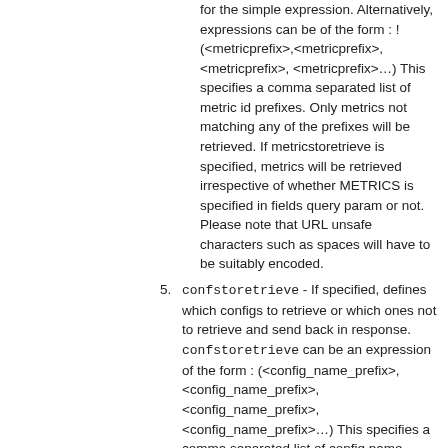for the simple expression. Alternatively, expressions can be of the form : !(<metricprefix>,<metricprefix>, <metricprefix>, <metricprefix>…) This specifies a comma separated list of metric id prefixes. Only metrics not matching any of the prefixes will be retrieved. If metricstoretrieve is specified, metrics will be retrieved irrespective of whether METRICS is specified in fields query param or not. Please note that URL unsafe characters such as spaces will have to be suitably encoded.
5. confstoretrieve - If specified, defines which configs to retrieve or which ones not to retrieve and send back in response. confstoretrieve can be an expression of the form : (<config_name_prefix>, <config_name_prefix>, <config_name_prefix>, <config_name_prefix>…) This specifies a comma separated list of config name